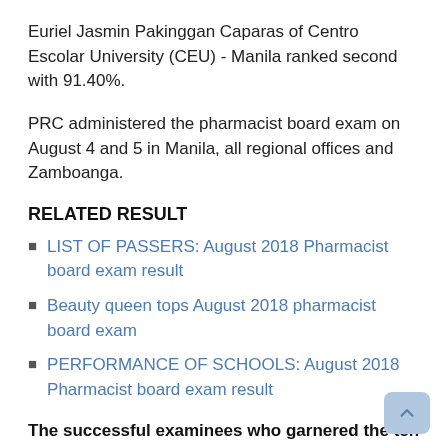Euriel Jasmin Pakinggan Caparas of Centro Escolar University (CEU) - Manila ranked second with 91.40%.
PRC administered the pharmacist board exam on August 4 and 5 in Manila, all regional offices and Zamboanga.
RELATED RESULT
LIST OF PASSERS: August 2018 Pharmacist board exam result
Beauty queen tops August 2018 pharmacist board exam
PERFORMANCE OF SCHOOLS: August 2018 Pharmacist board exam result
The successful examinees who garnered the ten (10) highest places in the August 2018 Pharmacist Licensure Examination are the following: